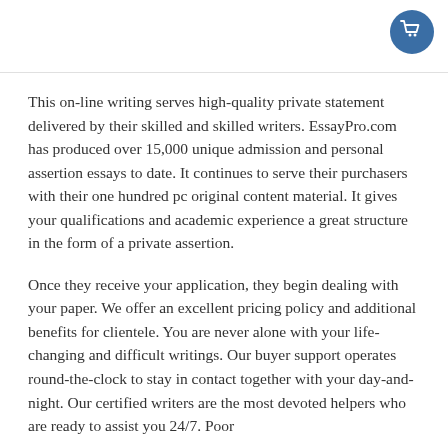This on-line writing serves high-quality private statement delivered by their skilled and skilled writers. EssayPro.com has produced over 15,000 unique admission and personal assertion essays to date. It continues to serve their purchasers with their one hundred pc original content material. It gives your qualifications and academic experience a great structure in the form of a private assertion.
Once they receive your application, they begin dealing with your paper. We offer an excellent pricing policy and additional benefits for clientele. You are never alone with your life-changing and difficult writings. Our buyer support operates round-the-clock to stay in contact together with your day-and-night. Our certified writers are the most devoted helpers who are ready to assist you 24/7. Poor